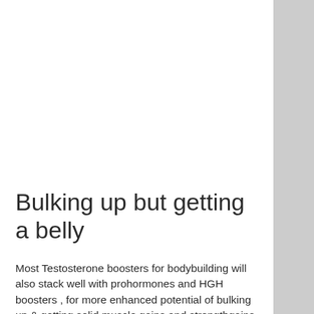Bulking up but getting a belly
Most Testosterone boosters for bodybuilding will also stack well with prohormones and HGH boosters , for more enhanced potential of bulking up & getting solid muscle gains and strengthgains during dieting.